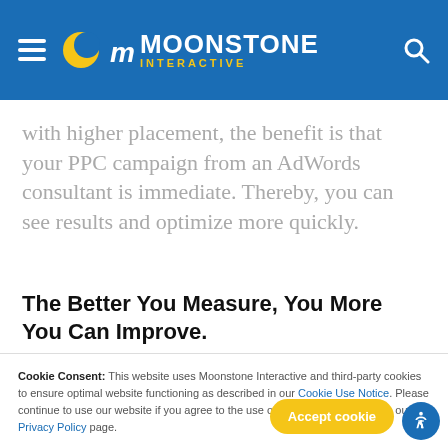Moonstone Interactive
with higher placement, the benefit is that your PPC campaign from an AdWords consultant is immediate. Thereby, you can see results and optimize more quickly.
The Better You Measure, You More You Can Improve.
Cookie Consent: This website uses Moonstone Interactive and third-party cookies to ensure optimal website functioning as described in our Cookie Use Notice. Please continue to use our website if you agree to the use of cookies. Read more on our Privacy Policy page.